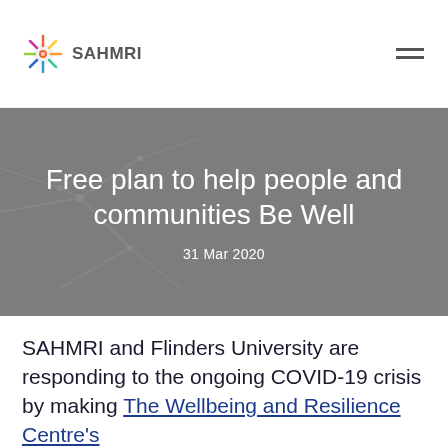SAHMRI
Free plan to help people and communities Be Well
31 Mar 2020
SAHMRI and Flinders University are responding to the ongoing COVID-19 crisis by making The Wellbeing and Resilience Centre's